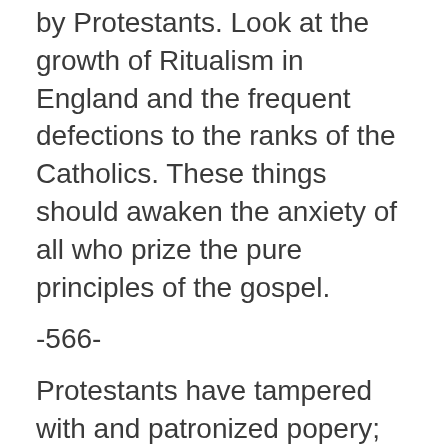by Protestants. Look at the growth of Ritualism in England and the frequent defections to the ranks of the Catholics. These things should awaken the anxiety of all who prize the pure principles of the gospel.
-566-
Protestants have tampered with and patronized popery; they have made compromises and concessions which papists themselves are surprised to see and fail to understand. Men are closing their eyes to the real character of Romanism and the dangers to be apprehended from her supremacy. The people need to be aroused to resist the advances of this most dangerous foe to civil and religious liberty.